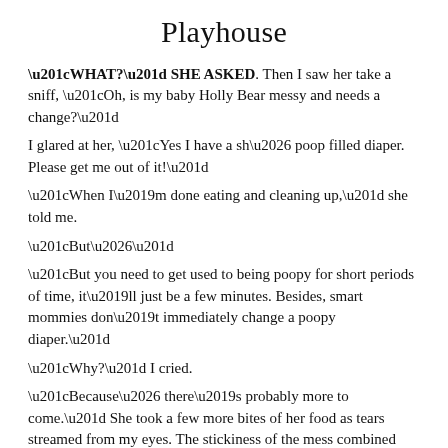Playhouse
“WHAT?” SHE ASKED. Then I saw her take a sniff, “Oh, is my baby Holly Bear messy and needs a change?”
I glared at her, “Yes I have a sh… poop filled diaper. Please get me out of it!”
“When I’m done eating and cleaning up,” she told me.
“But…”
“But you need to get used to being poopy for short periods of time, it’ll just be a few minutes. Besides, smart mommies don’t immediately change a poopy diaper.”
“Why?” I cried.
“Because… there’s probably more to come.” She took a few more bites of her food as tears streamed from my eyes. The stickiness of the mess combined with the knowledge of having shit all over my skin didn’t sit well with me. As she stood up to start cleaning up, I began to smell it too, and wanted to gag.